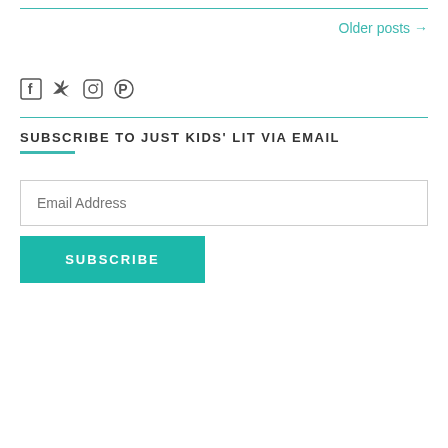Older posts →
[Figure (other): Social media icons: Facebook, Twitter, Instagram, Pinterest]
SUBSCRIBE TO JUST KIDS' LIT VIA EMAIL
Email Address
SUBSCRIBE